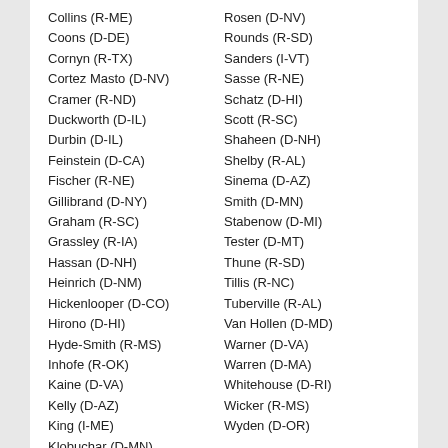Collins (R-ME)
Coons (D-DE)
Cornyn (R-TX)
Cortez Masto (D-NV)
Cramer (R-ND)
Duckworth (D-IL)
Durbin (D-IL)
Feinstein (D-CA)
Fischer (R-NE)
Gillibrand (D-NY)
Graham (R-SC)
Grassley (R-IA)
Hassan (D-NH)
Heinrich (D-NM)
Hickenlooper (D-CO)
Hirono (D-HI)
Hyde-Smith (R-MS)
Inhofe (R-OK)
Kaine (D-VA)
Kelly (D-AZ)
King (I-ME)
Klobuchar (D-MN)
Rosen (D-NV)
Rounds (R-SD)
Sanders (I-VT)
Sasse (R-NE)
Schatz (D-HI)
Scott (R-SC)
Shaheen (D-NH)
Shelby (R-AL)
Sinema (D-AZ)
Smith (D-MN)
Stabenow (D-MI)
Tester (D-MT)
Thune (R-SD)
Tillis (R-NC)
Tuberville (R-AL)
Van Hollen (D-MD)
Warner (D-VA)
Warren (D-MA)
Whitehouse (D-RI)
Wicker (R-MS)
Wyden (D-OR)